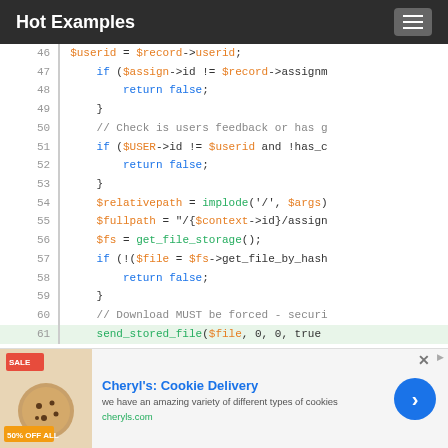Hot Examples
[Figure (screenshot): Code viewer showing PHP source code lines 46-61 with syntax highlighting. Line numbers on left, code on right. Line 61 is highlighted in green. Code includes PHP variables, if statements, return false, and function calls.]
[Figure (infographic): Advertisement banner for Cheryl's Cookie Delivery with image of cookies, text 'we have an amazing variety of different types of cookies', link 'cheryls.com', and a blue circular arrow button.]